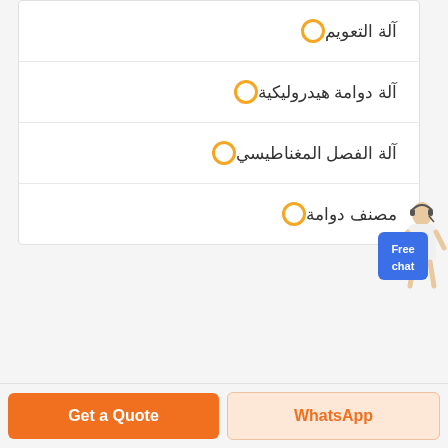آلة التعويم
آلة دوامة هيدروليكية
آلة الفصل المغناطيسي
مصنف دوامة
[Figure (illustration): Person with headset standing next to a blue 'Free chat' button]
Get a Quote
WhatsApp